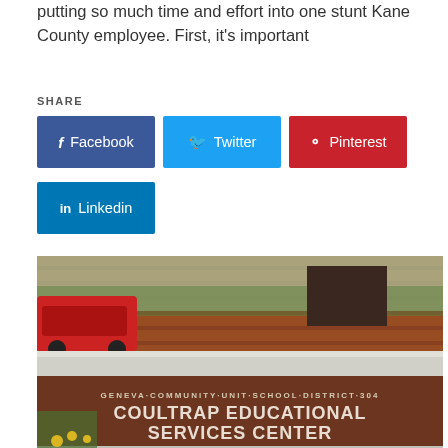putting so much time and effort into one stunt Kane County employee. First, it's important
SHARE
[Figure (screenshot): Social share buttons: Facebook (blue), Twitter (light blue), Pinterest (red), Linkedin (dark blue)]
[Figure (photo): Exterior photo of the Coultrap Educational Services Center sign for Geneva Community Unit School District 304, address 227, with brick monument sign, red truck and greenery visible]